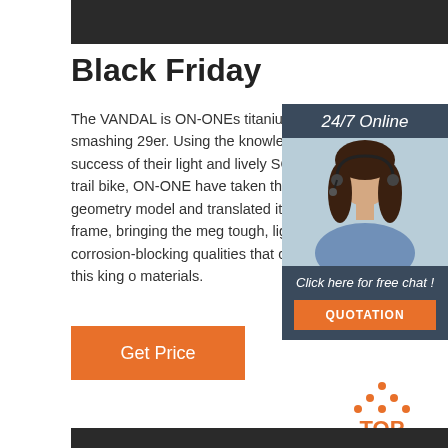[Figure (photo): Dark background image at top of page (partial view)]
Black Friday
The VANDAL is ON-ONEs titanium-tough smashing 29er. Using the knowledge gain the success of their light and lively SCAND trail bike, ON-ONE have taken the sweet handling geometry model and translated it premium titanium frame, bringing the meg tough, lightweight and corrosion-blocking qualities that comes from using this king o materials.
[Figure (infographic): Sidebar with '24/7 Online' header, photo of woman with headset, 'Click here for free chat!' text, and orange QUOTATION button]
[Figure (illustration): Orange 'Get Price' button]
[Figure (logo): TOP logo with orange dots forming a triangle above the word TOP]
[Figure (photo): Dark background image at bottom of page (partial view)]